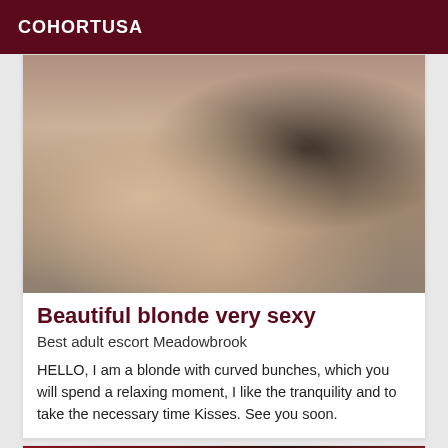COHORTUSA
[Figure (photo): Photo of a person posing in lingerie on a bed with blue fabric background]
Beautiful blonde very sexy
Best adult escort Meadowbrook
HELLO, I am a blonde with curved bunches, which you will spend a relaxing moment, I like the tranquility and to take the necessary time Kisses. See you soon.
[Figure (photo): Partial photo visible at bottom of page, dark red tones]